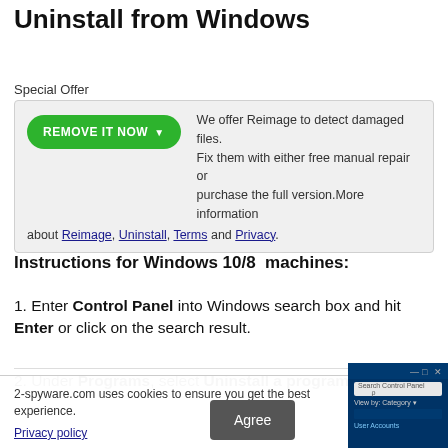Uninstall from Windows
Special Offer
[Figure (screenshot): Special offer box with green 'REMOVE IT NOW' button and offer text about Reimage, with links to Reimage, Uninstall, Terms and Privacy]
Instructions for Windows 10/8 machines:
1. Enter Control Panel into Windows search box and hit Enter or click on the search result.
2. Under Programs, select Uninstall a program.
2-spyware.com uses cookies to ensure you get the best experience.
Privacy policy
[Figure (screenshot): Windows Control Panel screenshot showing search bar and Category view]